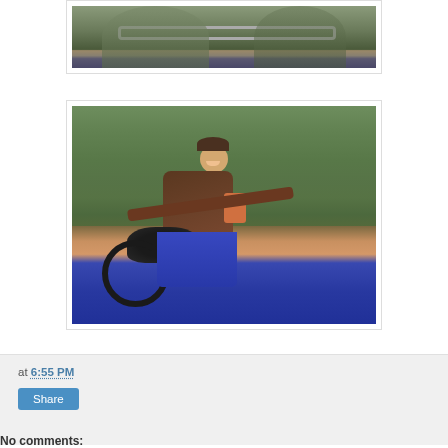[Figure (photo): Partial photo at top showing two figures with a handlebar/railing visible, cropped view]
[Figure (photo): Man in brown leather jacket and cap sitting on a black motorcycle, smiling, with green foliage in the background]
at 6:55 PM
Share
No comments: